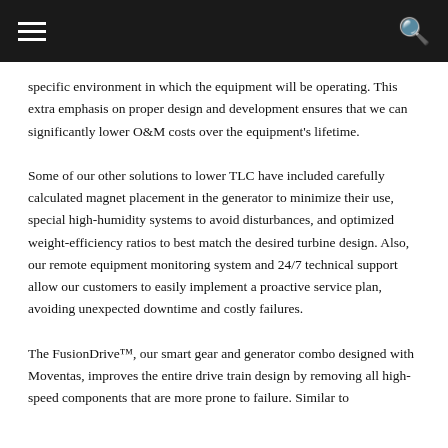[navigation bar with hamburger menu and search icon]
specific environment in which the equipment will be operating. This extra emphasis on proper design and development ensures that we can significantly lower O&M costs over the equipment's lifetime.
Some of our other solutions to lower TLC have included carefully calculated magnet placement in the generator to minimize their use, special high-humidity systems to avoid disturbances, and optimized weight-efficiency ratios to best match the desired turbine design. Also, our remote equipment monitoring system and 24/7 technical support allow our customers to easily implement a proactive service plan, avoiding unexpected downtime and costly failures.
The FusionDrive™, our smart gear and generator combo designed with Moventas, improves the entire drive train design by removing all high-speed components that are more prone to failure. Similar to